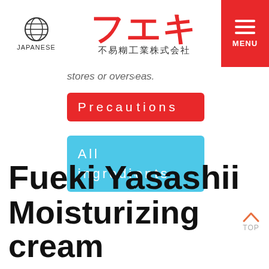JAPANESE — フエキ 不易糊工業株式会社 — MENU
stores or overseas.
Precautions
All ingredients
Fueki Yasashii Moisturizing cream